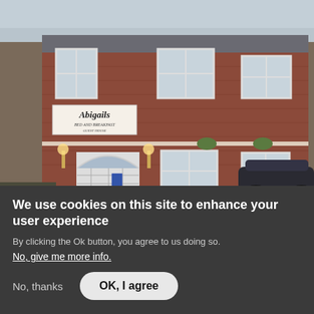[Figure (photo): Exterior photo of a red brick two-storey bed and breakfast building called 'Abigails'. The building has white-framed windows, an arched doorway entrance, wall-mounted lantern lights, hanging flower baskets, and a sign reading 'Abigails'. A dark car is partially visible in the foreground right.]
We use cookies on this site to enhance your user experience
By clicking the Ok button, you agree to us doing so.
No, give me more info.
No, thanks
OK, I agree